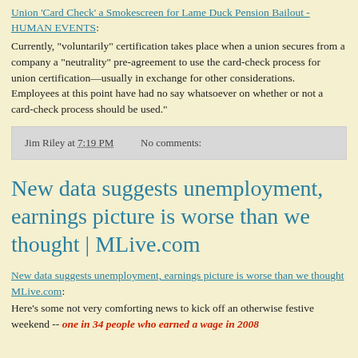Union 'Card Check' a Smokescreen for Lame Duck Pension Bailout - HUMAN EVENTS: Currently, "voluntarily" certification takes place when a union secures from a company a "neutrality" pre-agreement to use the card-check process for union certification—usually in exchange for other considerations. Employees at this point have had no say whatsoever on whether or not a card-check process should be used."
Jim Riley at 7:19 PM   No comments:
New data suggests unemployment, earnings picture is worse than we thought | MLive.com
New data suggests unemployment, earnings picture is worse than we thought MLive.com: Here's some not very comforting news to kick off an otherwise festive weekend -- one in 34 people who earned a wage in 2008